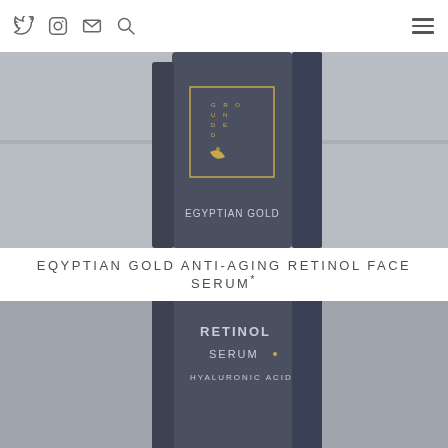Social media icons (Twitter, Instagram, Email, Search) and hamburger menu
[Figure (photo): Grounded Egyptian Gold Anti-Aging Retinol Face Serum product bottle, upper portion, shown against a light grey background. Dark navy bottle with gold crescent moon logo and 'GROUND ED' text, 'EGYPTIAN GOLD' label visible.]
EQYPTIAN GOLD ANTI-AGING RETINOL FACE SERUM*
[Figure (photo): Grounded Egyptian Gold Anti-Aging Retinol Face Serum product bottle, lower portion, showing 'RETINOL SERUM' and 'HYALURONIC ACID' text on the label against grey background.]